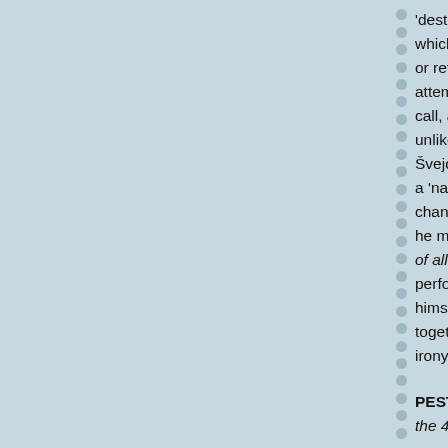'destruction' of his image by way of a very f which belay him, get stuck and he is suspe or return back to the flies, desperately jerki attempts to finish his stunt, he stays in this call, assisted by two technicians, who pull o unlike the actor, they can at least bow to the Švejda has proved several times before tha a 'natural' on the stage, almost as if he has changes in his slightly impenetrable express he moves around the stage are a pleasure t of all theatre-related trades' he passes mus performance limits him. It does not seem th himself and his art. He rather seems not to together' somehow and move on to the nex irony in this production would be futile ende
PESTS, directed and put together by Wario the 4+4 Days in Motion festival, Desfours P
The Stink Trap, directed and put together b 22, 2019 (Alfréd ve dvoře Theatre)
The Illusionist, directed by Petr Forman, m Dörner, production Milena Dörnerová, techr stage design cooperation Josef Sodomka, c